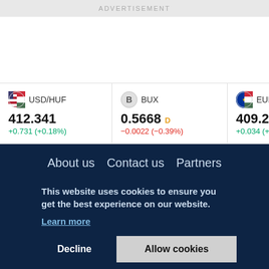ADVERTISEMENT
| Symbol | Price | Change |
| --- | --- | --- |
| USD/HUF | 412.341 | +0.731 (+0.18%) |
| BUX | 0.5668 | -0.0022 (-0.39%) |
| EUR/HUF | 409.254 | +0.034 (+0.01%) |
| TV | 3.55 | +0.06 |
About us   Contact us   Partners
This website uses cookies to ensure you get the best experience on our website.
Learn more
Decline
Allow cookies